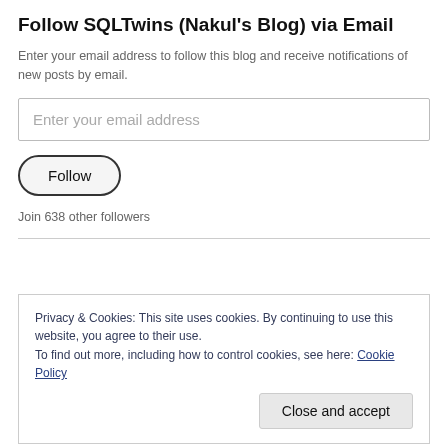Follow SQLTwins (Nakul's Blog) via Email
Enter your email address to follow this blog and receive notifications of new posts by email.
Enter your email address
Follow
Join 638 other followers
Privacy & Cookies: This site uses cookies. By continuing to use this website, you agree to their use.
To find out more, including how to control cookies, see here: Cookie Policy
Close and accept